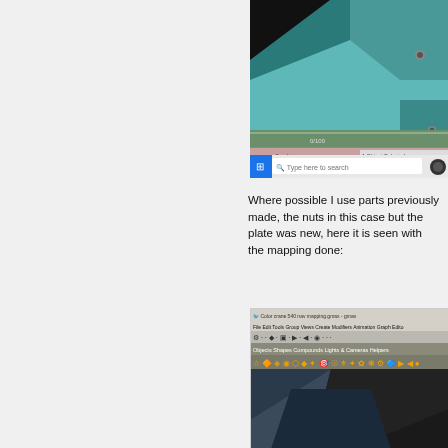[Figure (screenshot): 3D modeling software screenshot showing a teal/mint colored 3D object with dark background, and Windows taskbar at bottom showing 'Type here to search']
Where possible I use parts previously made, the nuts in this case but the plate was new, here it is seen with the mapping done:
[Figure (screenshot): 3D modeling software (gmax) screenshot showing toolbar with Objects, Shapes, Compounds, Lights & Cameras, Helpers tabs and a 3D viewport with dark geometric shapes]